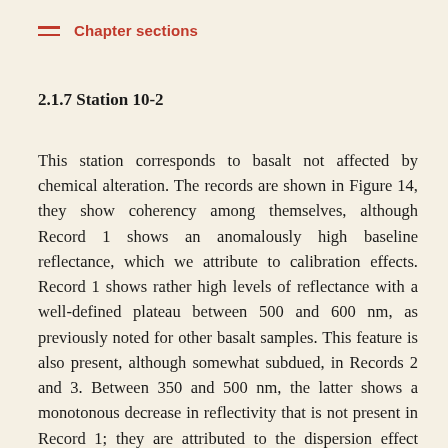Chapter sections
2.1.7 Station 10-2
This station corresponds to basalt not affected by chemical alteration. The records are shown in Figure 14, they show coherency among themselves, although Record 1 shows an anomalously high baseline reflectance, which we attribute to calibration effects. Record 1 shows rather high levels of reflectance with a well-defined plateau between 500 and 600 nm, as previously noted for other basalt samples. This feature is also present, although somewhat subdued, in Records 2 and 3. Between 350 and 500 nm, the latter shows a monotonous decrease in reflectivity that is not present in Record 1; they are attributed to the dispersion effect previously observed in other samples in this study.